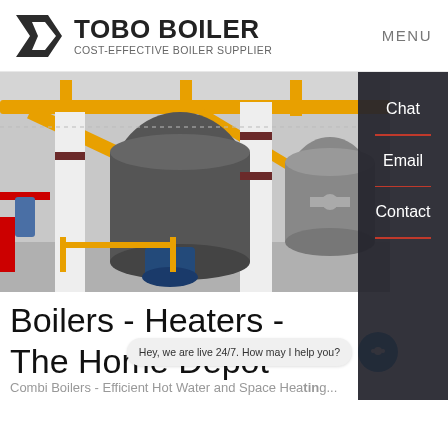[Figure (logo): Tobo Boiler logo with geometric K-shaped icon and text 'TOBO BOILER - COST-EFFECTIVE BOILER SUPPLIER']
MENU
[Figure (photo): Industrial boiler room with large cylindrical boilers, yellow pipes overhead, white support columns, and blue motors/pumps]
Chat
Email
Contact
Boilers - Heaters - The Home Depot
Hey, we are live 24/7. How may I help you?
Combi Boilers - Efficient Hot Water and Space Heating...